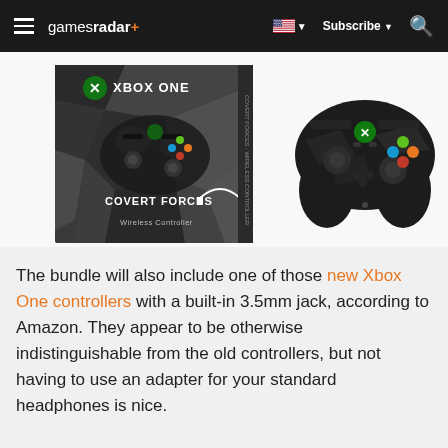gamesradar+ | Subscribe | Search
[Figure (photo): Xbox One Covert Forces Wireless Controller product box on the left showing the controller and 'COVERT FORCES' / 'Wireless Controller' text, and a standalone dark camouflage Xbox One controller on the right, both on white background.]
The bundle will also include one of those new Xbox One controllers with a built-in 3.5mm jack, according to Amazon. They appear to be otherwise indistinguishable from the old controllers, but not having to use an adapter for your standard headphones is nice.